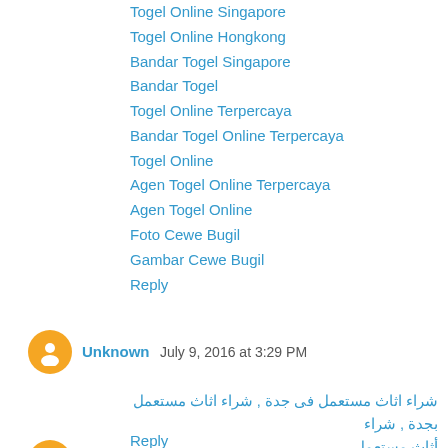Togel Online Singapore
Togel Online Hongkong
Bandar Togel Singapore
Bandar Togel
Togel Online Terpercaya
Bandar Togel Online Terpercaya
Togel Online
Agen Togel Online Terpercaya
Agen Togel Online
Foto Cewe Bugil
Gambar Cewe Bugil
Reply
Unknown  July 9, 2016 at 3:29 PM
شراء اثاث مستعمل فى جدة , شراء اثاث مستعمل بجدة , شراء أثاث مستعمل
Reply